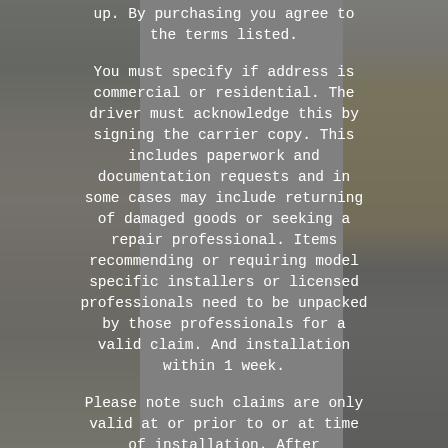up. By purchasing you agree to the terms listed.
You must specify if address is commercial or residential. The driver must acknowledge this by signing the carrier copy. This includes paperwork and documentation requests and in some cases may include returning of damaged goods or seeking a repair professional. Items recommending or requiring model specific installers or licensed professionals need to be unpacked by those professionals for a valid claim. And installation within 1 week.
Please note such claims are only valid at or prior to or at time of installation. After installation such claims are no